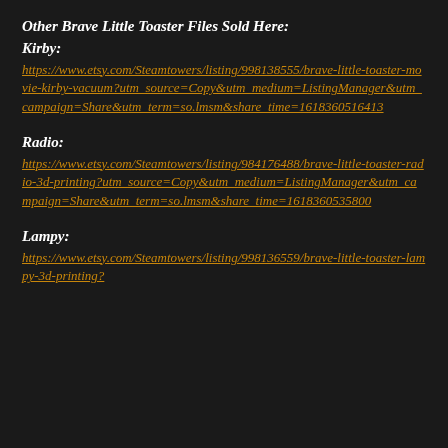Other Brave Little Toaster Files Sold Here:
Kirby:
https://www.etsy.com/Steamtowers/listing/998138555/brave-little-toaster-movie-kirby-vacuum?utm_source=Copy&utm_medium=ListingManager&utm_campaign=Share&utm_term=so.lmsm&share_time=1618360516413
Radio:
https://www.etsy.com/Steamtowers/listing/984176488/brave-little-toaster-radio-3d-printing?utm_source=Copy&utm_medium=ListingManager&utm_campaign=Share&utm_term=so.lmsm&share_time=1618360535800
Lampy:
https://www.etsy.com/Steamtowers/listing/998136559/brave-little-toaster-lampy-3d-printing?